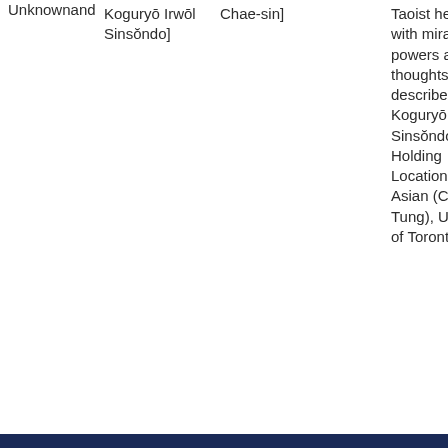| Unknownand | Koguryō Irwōl Sinsŏndo] | Chae-sin] | Taoist hermit with miraculous powers and thoughts described in Koguryō Irwōl Sinsŏndo / Holding Location: East Asian (Cheng Yu Tung), University of Toronto |